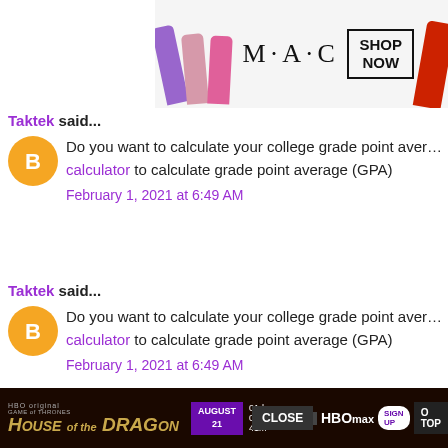[Figure (photo): MAC cosmetics advertisement banner with lipsticks and SHOP NOW button]
Taktek said...
Do you want to calculate your college grade point average? Use our calculator to calculate grade point average (GPA)
February 1, 2021 at 6:49 AM
Taktek said...
Do you want to calculate your college grade point average? Use our calculator to calculate grade point average (GPA)
February 1, 2021 at 6:49 AM
Taktek said...
Do you want to calculate your college grade point average?
[Figure (screenshot): House of Dragon HBO Max advertisement with CLOSE button and countdown timer]